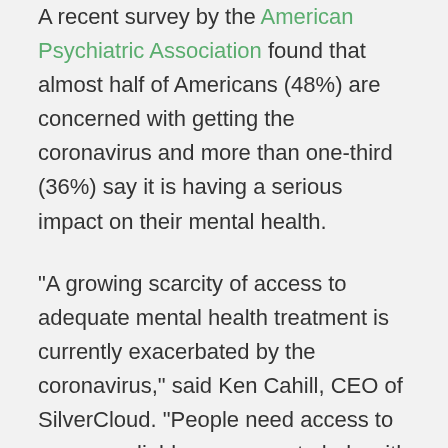A recent survey by the American Psychiatric Association found that almost half of Americans (48%) are concerned with getting the coronavirus and more than one-third (36%) say it is having a serious impact on their mental health.
“A growing scarcity of access to adequate mental health treatment is currently exacerbated by the coronavirus,” said Ken Cahill, CEO of SilverCloud. “People need access to proven, reliable resources to help with mental health, including not just depression and anxiety. SilverCloud solutions, through real-world delivery to more than 400,000 patients as well as multiple randomized control trials, has